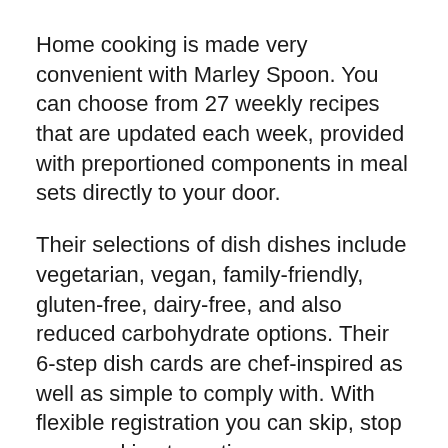Home cooking is made very convenient with Marley Spoon. You can choose from 27 weekly recipes that are updated each week, provided with preportioned components in meal sets directly to your door.
Their selections of dish dishes include vegetarian, vegan, family-friendly, gluten-free, dairy-free, and also reduced carbohydrate options. Their 6-step dish cards are chef-inspired as well as simple to comply with. With flexible registration you can skip, stop or cancel in at any time.
In addition to 2-person as well as 4-person dish package boxes, they likewise offer fruit boxes supplied weekly at $24.90.